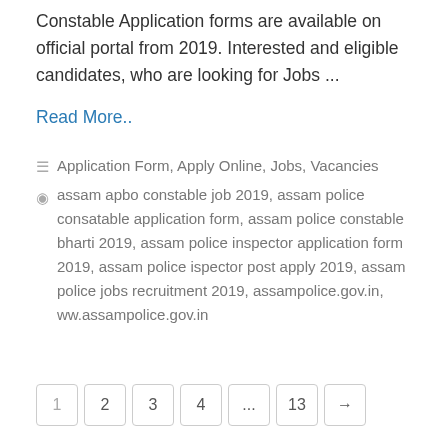Constable Application forms are available on official portal from 2019. Interested and eligible candidates, who are looking for Jobs ...
Read More..
Application Form, Apply Online, Jobs, Vacancies
assam apbo constable job 2019, assam police consatable application form, assam police constable bharti 2019, assam police inspector application form 2019, assam police ispector post apply 2019, assam police jobs recruitment 2019, assampolice.gov.in, ww.assampolice.gov.in
1 2 3 4 ... 13 →